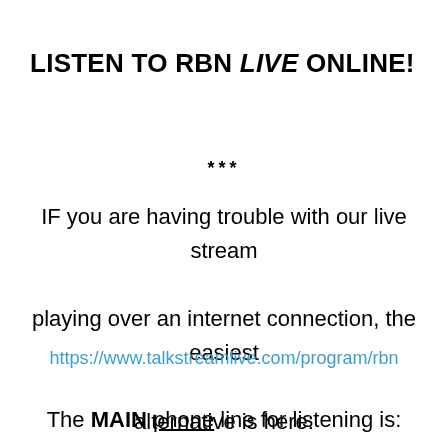LISTEN TO RBN LIVE ONLINE!
***
IF you are having trouble with our live stream playing over an internet connection, the easiest alternative is here:
https://www.talkstreamlive.com/program/rbn
The MAIN phone line for listening is: